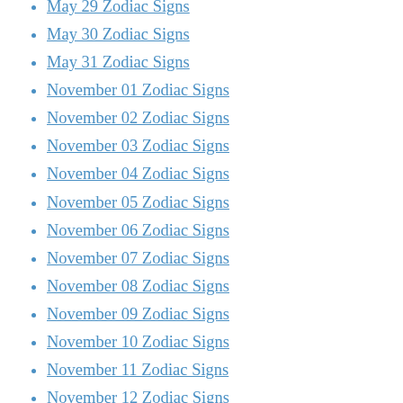May 29 Zodiac Signs
May 30 Zodiac Signs
May 31 Zodiac Signs
November 01 Zodiac Signs
November 02 Zodiac Signs
November 03 Zodiac Signs
November 04 Zodiac Signs
November 05 Zodiac Signs
November 06 Zodiac Signs
November 07 Zodiac Signs
November 08 Zodiac Signs
November 09 Zodiac Signs
November 10 Zodiac Signs
November 11 Zodiac Signs
November 12 Zodiac Signs
November 13 Zodiac Signs
November 14 Zodiac Signs
November 15 Zodiac Signs